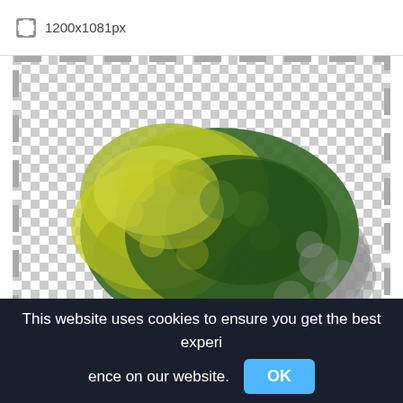1200x1081px
[Figure (screenshot): Top-down view of a leafy bush/tree with green and yellow-green foliage, with a gray shadow cast to the right, displayed on a checkered transparency background with a dashed border frame.]
This website uses cookies to ensure you get the best experience on our website.